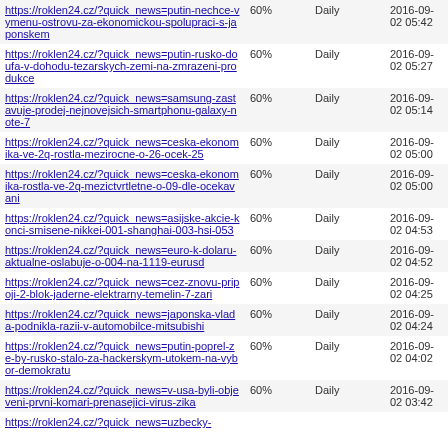| https://roklen24.cz/?quick_news=putin-nechce-vymenu-ostrovu-za-ekonomickou-spolupraci-s-japonskem | 60% | Daily | 2016-09-02 05:42 |
| https://roklen24.cz/?quick_news=putin-rusko-doufa-v-dohodu-tezarskych-zemi-na-zmrazeni-produkce | 60% | Daily | 2016-09-02 05:27 |
| https://roklen24.cz/?quick_news=samsung-zastavuje-prodej-nejnovejsich-smartphonu-galaxy-note-7 | 60% | Daily | 2016-09-02 05:14 |
| https://roklen24.cz/?quick_news=ceska-ekonomika-ve-2q-rostla-mezirocne-o-26-ocek-25 | 60% | Daily | 2016-09-02 05:00 |
| https://roklen24.cz/?quick_news=ceska-ekonomika-rostla-ve-2q-mezictvrtletne-o-09-dle-ocekavani | 60% | Daily | 2016-09-02 05:00 |
| https://roklen24.cz/?quick_news=asijske-akcie-konci-smisene-nikkei-001-shanghai-003-hsi-053 | 60% | Daily | 2016-09-02 04:53 |
| https://roklen24.cz/?quick_news=euro-k-dolaru-aktualne-oslabuje-o-004-na-1119-eurusd | 60% | Daily | 2016-09-02 04:52 |
| https://roklen24.cz/?quick_news=cez-znovu-pripoji-2-blok-jaderne-elektrarny-temelin-7-zari | 60% | Daily | 2016-09-02 04:25 |
| https://roklen24.cz/?quick_news=japonska-vlada-podnikla-razii-v-automobilce-mitsubishi | 60% | Daily | 2016-09-02 04:24 |
| https://roklen24.cz/?quick_news=putin-poprel-ze-by-rusko-stalo-za-hackerskym-utokem-na-vybor-demokratu | 60% | Daily | 2016-09-02 04:02 |
| https://roklen24.cz/?quick_news=v-usa-byli-objeveni-prvni-komari-prenasejici-virus-zika | 60% | Daily | 2016-09-02 03:42 |
| https://roklen24.cz/?quick_news=uzbecky-... |  |  |  |